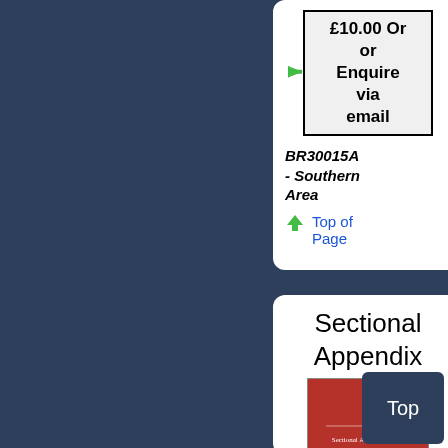£10.00 Order or Enquire via email
BR30015A - Southern Area
Top of Page
Sectional Appendix
[Figure (photo): Red book cover - Sectional Appendix for the Southern Timetable and Rules of Conduct Operations]